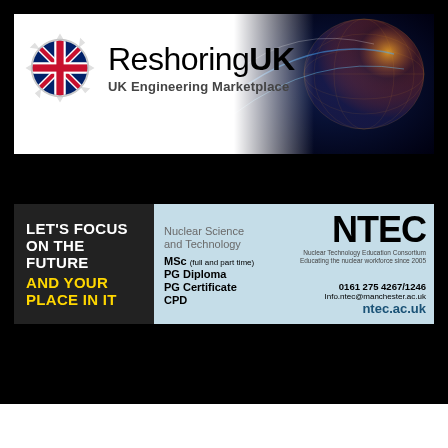[Figure (logo): ReshoringUK logo with Union Jack gear icon, text 'ReshoringUK UK Engineering Marketplace', background with globe/circuit imagery]
[Figure (logo): NTEC advertisement banner: left dark panel 'LET'S FOCUS ON THE FUTURE AND YOUR PLACE IN IT', right light blue panel with Nuclear Science and Technology courses (MSc, PG Diploma, PG Certificate, CPD) and NTEC logo, contact details 0161 275 4267/1246, info.ntec@manchester.ac.uk, ntec.ac.uk]